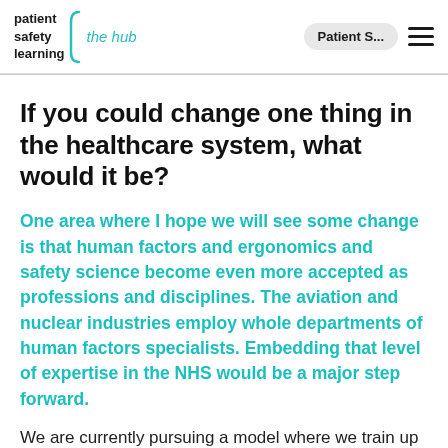patient safety learning | the hub
If you could change one thing in the healthcare system, what would it be?
One area where I hope we will see some change is that human factors and ergonomics and safety science become even more accepted as professions and disciplines. The aviation and nuclear industries employ whole departments of human factors specialists. Embedding that level of expertise in the NHS would be a major step forward.
We are currently pursuing a model where we train up enthusiastic healthcare staff to become more